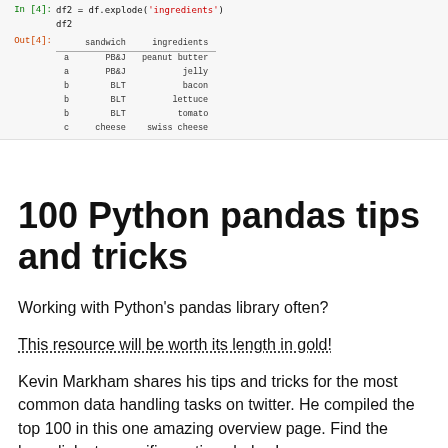[Figure (screenshot): Jupyter notebook cell showing Python code: df2 = df.explode('ingredients') and df2, followed by a DataFrame output table with columns 'sandwich' and 'ingredients', rows: a/PB&J/peanut butter, a/PB&J/jelly, b/BLT/bacon, b/BLT/lettuce, b/BLT/tomato, c/cheese/swiss cheese]
100 Python pandas tips and tricks
Working with Python’s pandas library often?
This resource will be worth its length in gold!
Kevin Markham shares his tips and tricks for the most common data handling tasks on twitter. He compiled the top 100 in this one amazing overview page. Find the hyperlinks to specific sections below!